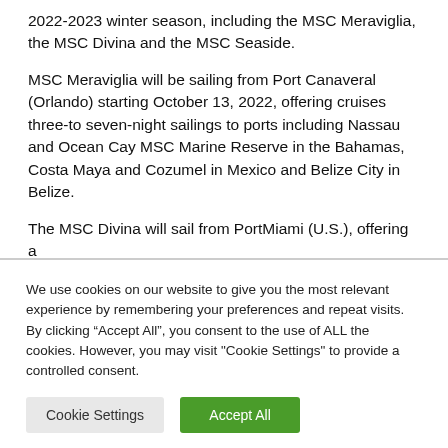2022-2023 winter season, including the MSC Meraviglia, the MSC Divina and the MSC Seaside.
MSC Meraviglia will be sailing from Port Canaveral (Orlando) starting October 13, 2022, offering cruises three-to seven-night sailings to ports including Nassau and Ocean Cay MSC Marine Reserve in the Bahamas, Costa Maya and Cozumel in Mexico and Belize City in Belize.
The MSC Divina will sail from PortMiami (U.S.), offering a
We use cookies on our website to give you the most relevant experience by remembering your preferences and repeat visits. By clicking “Accept All”, you consent to the use of ALL the cookies. However, you may visit "Cookie Settings" to provide a controlled consent.